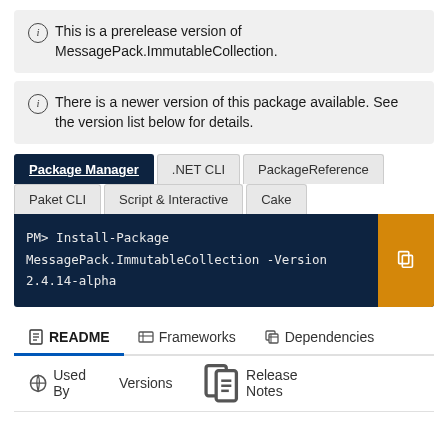ⓘ This is a prerelease version of MessagePack.ImmutableCollection.
ⓘ There is a newer version of this package available. See the version list below for details.
Tab: Package Manager (active), .NET CLI, PackageReference, Paket CLI, Script & Interactive, Cake
PM> Install-Package MessagePack.ImmutableCollection -Version 2.4.14-alpha
README | Frameworks | Dependencies | Used By | Versions | Release Notes